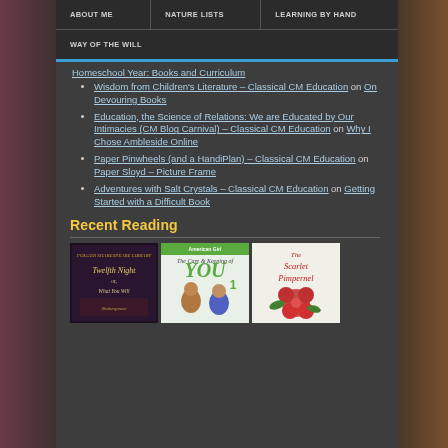ABOUT ME | NATURE LISTS | LEARNING BY HAND | WAY OF THE WILL
Homeschool Year: Books and Curriculum
Wisdom from Children's Literature – Classical CM Education on On Devouring Books
Education, the Science of Relations: We are Educated by Our Intimacies (CM Blog Carnival) – Classical CM Education on Why I Chose Ambleside Online
Paper Pinwheels (and a HandiPlan) – Classical CM Education on Paper Sloyd – Picture Frame
Adventures with Salt Crystals – Classical CM Education on Getting Started with a Difficult Book
Recent Reading
[Figure (photo): Three book covers: Twelfth Night or What You Will, The Care & Keeping of You 1, The Scarlet Pimpernel]